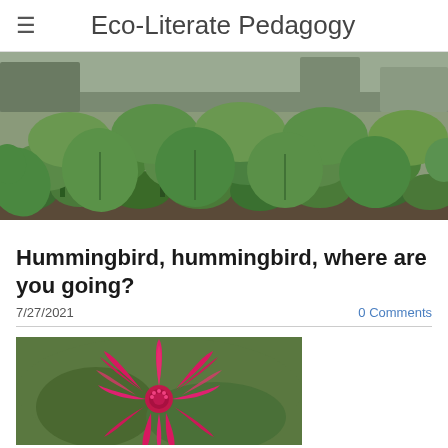Eco-Literate Pedagogy
[Figure (photo): Close-up photo of dense green leafy seedlings or plants growing in a garden, with blurred trees in the background]
Hummingbird, hummingbird, where are you going?
7/27/2021    0 Comments
[Figure (photo): Close-up photo of a bright pink/magenta bee balm flower (Monarda) with spiky petals, green foliage in background]